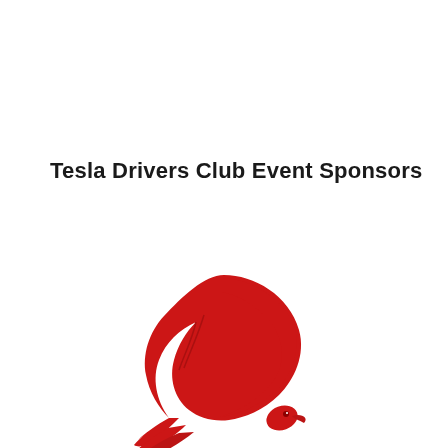Tesla Drivers Club Event Sponsors
[Figure (logo): Red bird/dove logo — a stylized bird in flight rendered in solid red, swooping downward with wings spread, tail feathers visible, resembling a dove or swift in a crescent shape]